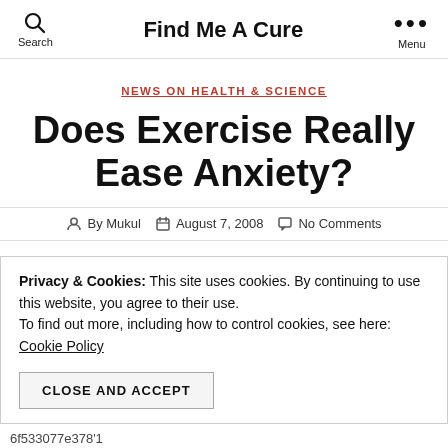Find Me A Cure
NEWS ON HEALTH & SCIENCE
Does Exercise Really Ease Anxiety?
By Mukul   August 7, 2008   No Comments
Privacy & Cookies: This site uses cookies. By continuing to use this website, you agree to their use. To find out more, including how to control cookies, see here: Cookie Policy
CLOSE AND ACCEPT
6f533077e378'1